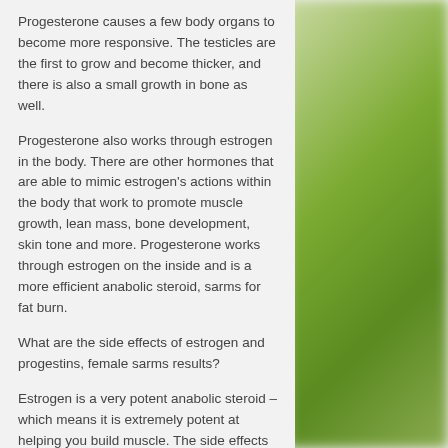Progesterone causes a few body organs to become more responsive. The testicles are the first to grow and become thicker, and there is also a small growth in bone as well.
Progesterone also works through estrogen in the body. There are other hormones that are able to mimic estrogen's actions within the body that work to promote muscle growth, lean mass, bone development, skin tone and more. Progesterone works through estrogen on the inside and is a more efficient anabolic steroid, sarms for fat burn.
What are the side effects of estrogen and progestins, female sarms results?
Estrogen is a very potent anabolic steroid – which means it is extremely potent at helping you build muscle. The side effects of estrogen are more mild than they are for